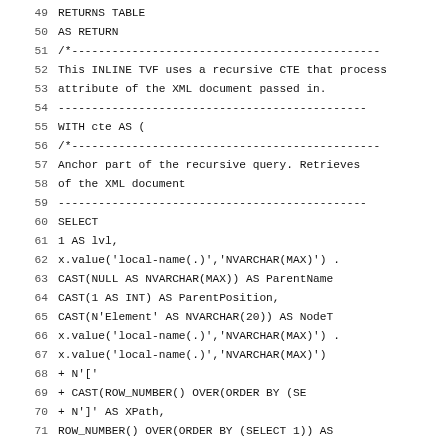49  RETURNS TABLE
50  AS RETURN
51  /*----------------------------------------------
52  This INLINE TVF uses a recursive CTE that process
53  attribute of the XML document passed in.
54  ----------------------------------------------
55  WITH cte AS (
56      /*----------------------------------------------
57      Anchor part of the recursive query. Retrieves
58      of the XML document
59      ----------------------------------------------
60      SELECT
61          1 AS lvl,
62          x.value('local-name(.)','NVARCHAR(MAX)') .
63          CAST(NULL AS NVARCHAR(MAX)) AS ParentName
64          CAST(1 AS INT) AS ParentPosition,
65          CAST(N'Element' AS NVARCHAR(20)) AS NodeT
66          x.value('local-name(.)','NVARCHAR(MAX)') .
67          x.value('local-name(.)','NVARCHAR(MAX)')
68              + N'['
69              + CAST(ROW_NUMBER() OVER(ORDER BY (SE
70              + N']' AS XPath,
71          ROW_NUMBER() OVER(ORDER BY (SELECT 1)) AS